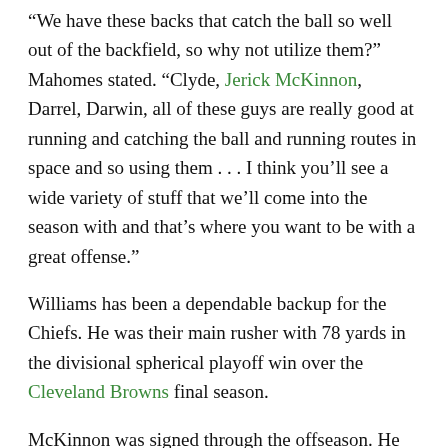“We have these backs that catch the ball so well out of the backfield, so why not utilize them?” Mahomes stated. “Clyde, Jerick McKinnon, Darrel, Darwin, all of these guys are really good at running and catching the ball and running routes in space and so using them . . . I think you’ll see a wide variety of stuff that we’ll come into the season with and that’s where you want to be with a great offense.”
Williams has been a dependable backup for the Chiefs. He was their main rusher with 78 yards in the divisional spherical playoff win over the Cleveland Browns final season.
McKinnon was signed through the offseason. He rushed for 570 yards and caught 51 passes for the Minnesota Vikings in 2017, then missed two seasons with a knee harm earlier than scoring six touchdowns with the San Francisco 49ers in 2020.
“He’s experienced,” Reid stated. “He’s been doing this awhile and he does it well. He sure has a nice feel for the pass game